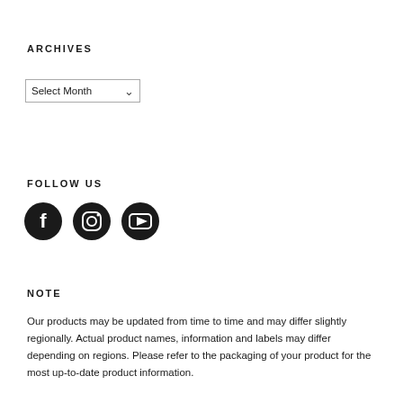ARCHIVES
[Figure (screenshot): A dropdown/select box showing 'Select Month' with a chevron arrow]
FOLLOW US
[Figure (other): Three social media icons: Facebook (circle with f), Instagram (camera icon), YouTube (play button in rounded square)]
NOTE
Our products may be updated from time to time and may differ slightly regionally. Actual product names, information and labels may differ depending on regions. Please refer to the packaging of your product for the most up-to-date product information.